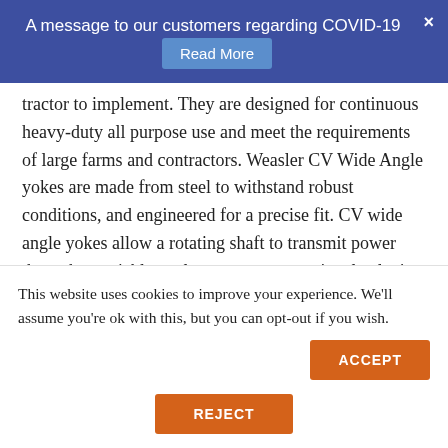A message to our customers regarding COVID-19  Read More  ×
tractor to implement. They are designed for continuous heavy-duty all purpose use and meet the requirements of large farms and contractors. Weasler CV Wide Angle yokes are made from steel to withstand robust conditions, and engineered for a precise fit. CV wide angle yokes allow a rotating shaft to transmit power through a variable angle, at constant rotational velocity, without an appreciable increase in vibration or friction. The metric product line offering of PTO drive shafts, Weasler Profile, meets and/or
This website uses cookies to improve your experience. We'll assume you're ok with this, but you can opt-out if you wish.
ACCEPT
REJECT